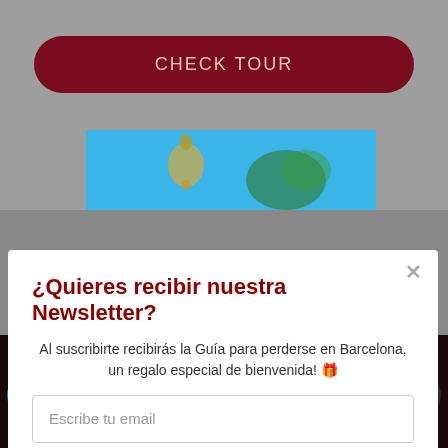[Figure (screenshot): CHECK TOUR button (dark red rounded button) at top of page on grey background]
[Figure (photo): Blue sky photo strip partially visible behind modal]
¿Quieres recibir nuestra Newsletter?
Al suscribirte recibirás la Guía para perderse en Barcelona, un regalo especial de bienvenida! 🎁
Escribe tu email
Quiero suscribirme
This site uses cookies. By continuing to browse the site, you are agreeing to our use of cookies.
[Figure (logo): POWERED BY SUMO badge]
[Figure (screenshot): Social media icons row at bottom: SMS, WhatsApp, Got it button, email, Learn more/Facebook, Twitter, WhatsApp green, crown]